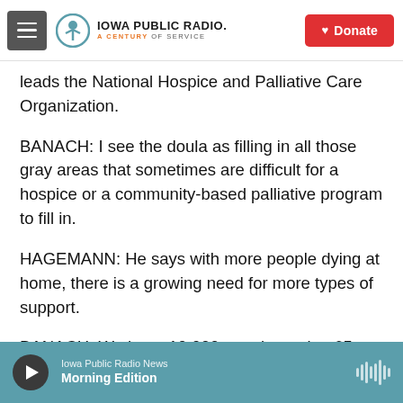Iowa Public Radio. A Century of Service. Donate.
leads the National Hospice and Palliative Care Organization.
BANACH: I see the doula as filling in all those gray areas that sometimes are difficult for a hospice or a community-based palliative program to fill in.
HAGEMANN: He says with more people dying at home, there is a growing need for more types of support.
BANACH: We have 10,000 people turning 65 every day. The demographics are such that there aren't enough people to care for the folks who need help.
Iowa Public Radio News — Morning Edition